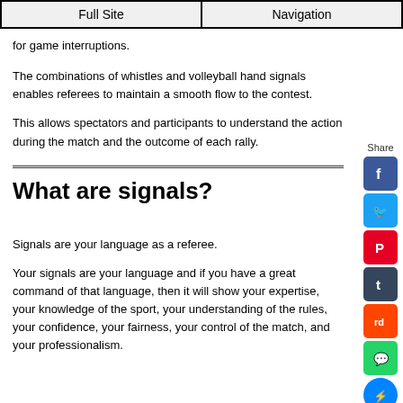Full Site | Navigation
for game interruptions.
The combinations of whistles and volleyball hand signals enables referees to maintain a smooth flow to the contest.
This allows spectators and participants to understand the action during the match and the outcome of each rally.
What are signals?
Signals are your language as a referee.
Your signals are your language and if you have a great command of that language, then it will show your expertise, your knowledge of the sport, your understanding of the rules, your confidence, your fairness, your control of the match, and your professionalism.